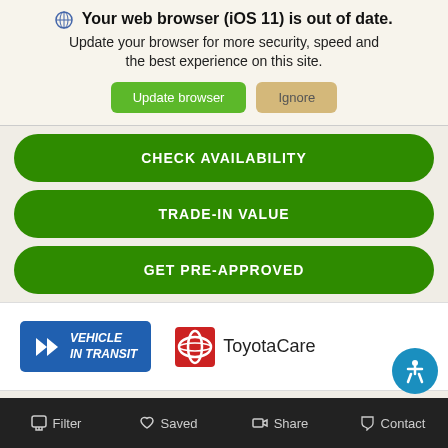Your web browser (iOS 11) is out of date. Update your browser for more security, speed and the best experience on this site.
Update browser
Ignore
CHECK AVAILABILITY
TRADE-IN VALUE
GET PRE-APPROVED
[Figure (logo): Vehicle In Transit badge - blue rectangle with double chevron arrows and italic text VEHICLE IN TRANSIT]
[Figure (logo): ToyotaCare logo - red circle Toyota emblem with ToyotaCare text]
Filter
Saved
Share
Contact